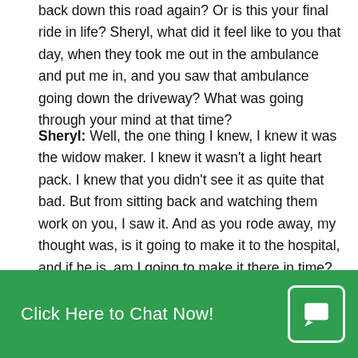back down this road again? Or is this your final ride in life? Sheryl, what did it feel like to you that day, when they took me out in the ambulance and put me in, and you saw that ambulance going down the driveway? What was going through your mind at that time?
Sheryl: Well, the one thing I knew, I knew it was the widow maker. I knew it wasn't a light heart pack. I knew that you didn't see it as quite that bad. But from sitting back and watching them work on you, I saw it. And as you rode away, my thought was, is it going to make it to the hospital, and if he is, am I going to make it there in time? And yes, it was hard thinking maybe, like you say, it was your last ride.
Jerry J.: Right. And I had a checkup earlier this week
practitioner: we have to take my daily signs here, we